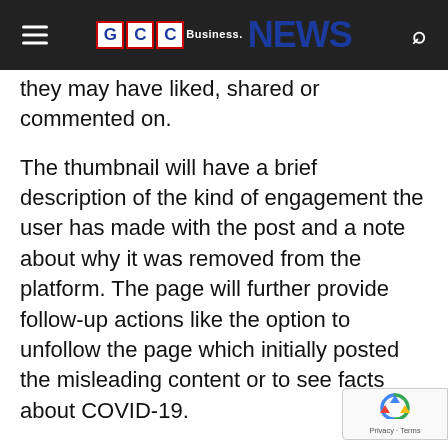GCC Business News
they may have liked, shared or commented on.
The thumbnail will have a brief description of the kind of engagement the user has made with the post and a note about why it was removed from the platform. The page will further provide follow-up actions like the option to unfollow the page which initially posted the misleading content or to see facts about COVID-19.
Facebook has redesigned their system